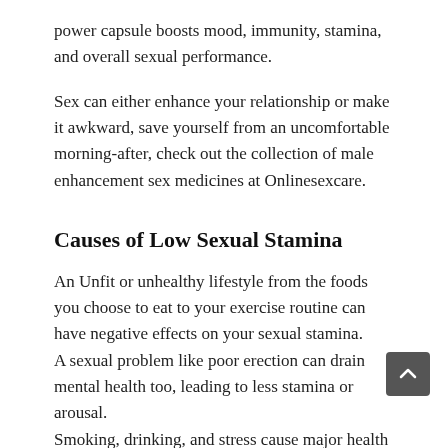power capsule boosts mood, immunity, stamina, and overall sexual performance.
Sex can either enhance your relationship or make it awkward, save yourself from an uncomfortable morning-after, check out the collection of male enhancement sex medicines at Onlinesexcare.
Causes of Low Sexual Stamina
An Unfit or unhealthy lifestyle from the foods you choose to eat to your exercise routine can have negative effects on your sexual stamina.
A sexual problem like poor erection can drain mental health too, leading to less stamina or arousal.
Smoking, drinking, and stress cause major health concerns as it is, overall low stamina in the body affects sexual